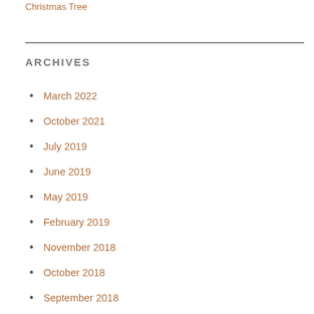Christmas Tree
ARCHIVES
March 2022
October 2021
July 2019
June 2019
May 2019
February 2019
November 2018
October 2018
September 2018
August 2018
July 2018